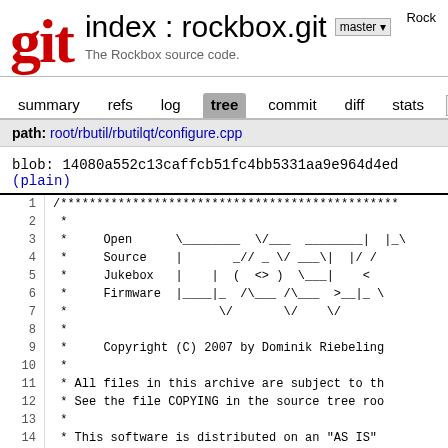git index : rockbox.git master — The Rockbox source code. Rock
summary   refs   log   tree   commit   diff   stats   lo
path: root/rbutil/rbutilqt/configure.cpp
blob: 14080a552c13caffcb51fc4bb5331aa9e964d4ed (plain)
1  /***********************************************
2   *
3   *     Open
4   *     Source
5   *     Jukebox
6   *     Firmware
7   *
8   *
9   *     Copyright (C) 2007 by Dominik Riebeling
10  *
11  * All files in this archive are subject to th
12  * See the file COPYING in the source tree roo
13  *
14  * This software is distributed on an "AS IS"
15  * KIND, either express or implied.
16  *